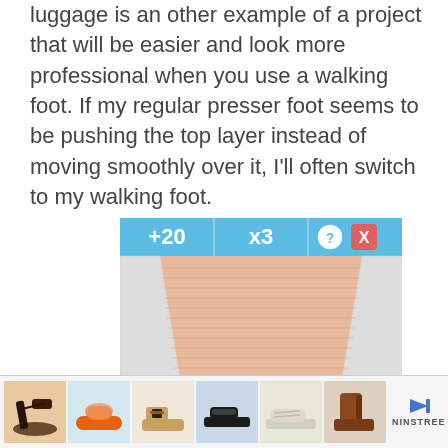luggage is an other example of a project that will be easier and look more professional when you use a walking foot. If my regular presser foot seems to be pushing the top layer instead of moving smoothly over it, I'll often switch to my walking foot.
[Figure (screenshot): A mobile game screenshot showing a bowling lane perspective view with blue header displaying '+20' and 'x3' bonus indicators, a '?' help button, an 'X' close button, and a numbered '3' button at the bottom center. The lane has a light peach/wood-tone surface with horizontal stripe texture.]
[Figure (photo): Advertisement bar showing six shoe thumbnail images (various styles including heels, sandals, and boots) with a play/forward arrow icon and an X button, and the brand name 'NINSTREE' on the right.]